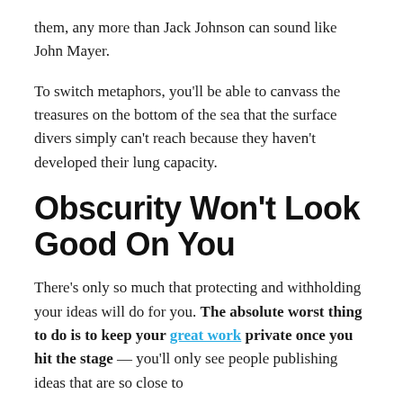them, any more than Jack Johnson can sound like John Mayer.
To switch metaphors, you'll be able to canvass the treasures on the bottom of the sea that the surface divers simply can't reach because they haven't developed their lung capacity.
Obscurity Won't Look Good On You
There's only so much that protecting and withholding your ideas will do for you. The absolute worst thing to do is to keep your great work private once you hit the stage — you'll only see people publishing ideas that are so close to